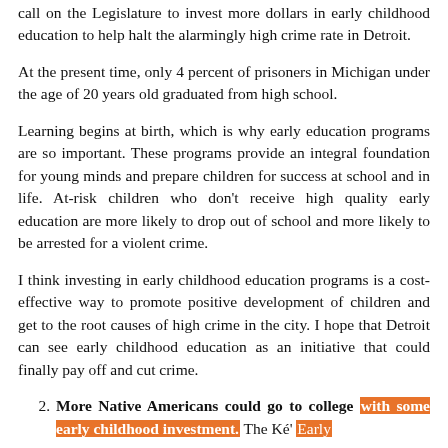call on the Legislature to invest more dollars in early childhood education to help halt the alarmingly high crime rate in Detroit.
At the present time, only 4 percent of prisoners in Michigan under the age of 20 years old graduated from high school.
Learning begins at birth, which is why early education programs are so important. These programs provide an integral foundation for young minds and prepare children for success at school and in life. At-risk children who don't receive high quality early education are more likely to drop out of school and more likely to be arrested for a violent crime.
I think investing in early childhood education programs is a cost-effective way to promote positive development of children and get to the root causes of high crime in the city. I hope that Detroit can see early childhood education as an initiative that could finally pay off and cut crime.
2. More Native Americans could go to college with some early childhood investment. The Ké' Early